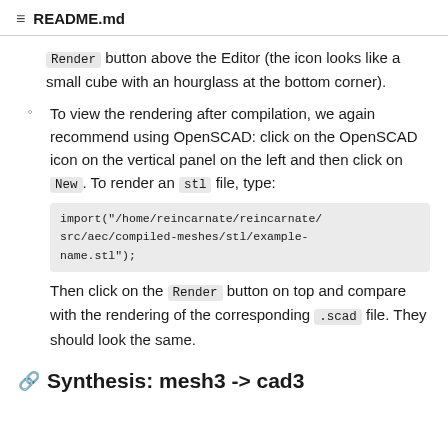README.md
Render button above the Editor (the icon looks like a small cube with an hourglass at the bottom corner).
To view the rendering after compilation, we again recommend using OpenSCAD: click on the OpenSCAD icon on the vertical panel on the left and then click on New . To render an stl file, type: import("/home/reincarnate/reincarnate/src/aec/compiled-meshes/stl/example-name.stl"); Then click on the Render button on top and compare with the rendering of the corresponding .scad file. They should look the same.
Synthesis: mesh3 -> cad3